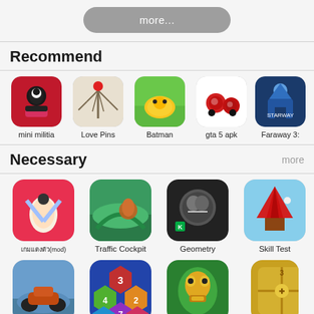more...
Recommend
[Figure (screenshot): Row of 5 app icons: mini militia, Love Pins, Batman, gta 5 apk, Faraway 3:]
Necessary
[Figure (screenshot): Row of 4 app icons: (Thai text)(mod), Traffic Cockpit, Geometry, Skill Test]
[Figure (screenshot): Row of 4 partial app icons at bottom]